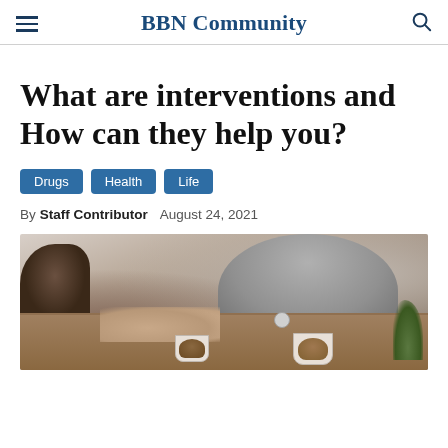BBN Community
What are interventions and How can they help you?
Drugs  Health  Life
By Staff Contributor  August 24, 2021
[Figure (photo): Two people sitting at a table, one in a grey shirt, holding hands over coffee cups. A counseling or intervention scene.]